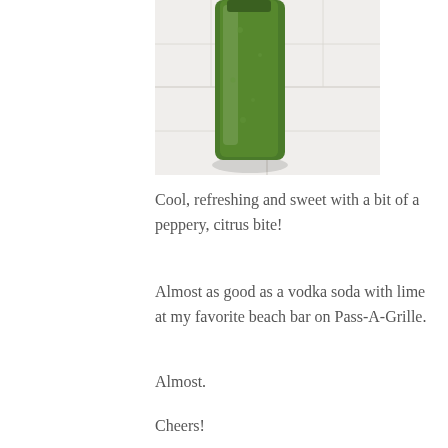[Figure (photo): A green smoothie or juice in a glass bottle sitting on a white tile surface, viewed from above and slightly to the side.]
Cool, refreshing and sweet with a bit of a peppery, citrus bite!
Almost as good as a vodka soda with lime at my favorite beach bar on Pass-A-Grille.
Almost.
Cheers!